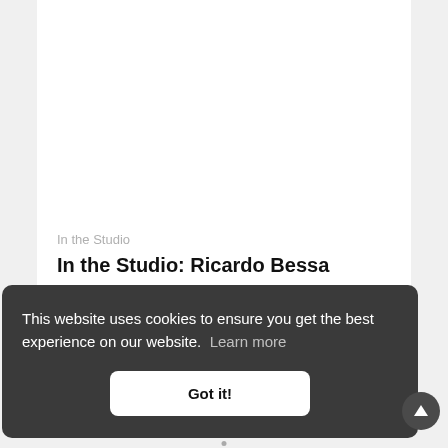In the Studio
In the Studio: Ricardo Bessa
04.12.2017
This website uses cookies to ensure you get the best experience on our website.  Learn more
Got it!